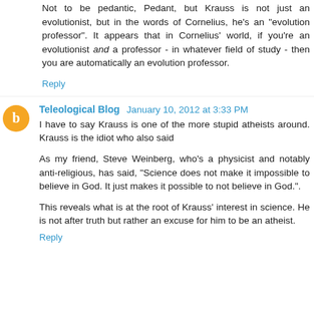Not to be pedantic, Pedant, but Krauss is not just an evolutionist, but in the words of Cornelius, he's an "evolution professor". It appears that in Cornelius' world, if you're an evolutionist and a professor - in whatever field of study - then you are automatically an evolution professor.
Reply
Teleological Blog  January 10, 2012 at 3:33 PM
I have to say Krauss is one of the more stupid atheists around. Krauss is the idiot who also said
As my friend, Steve Weinberg, who’s a physicist and notably anti-religious, has said, “Science does not make it impossible to believe in God. It just makes it possible to not believe in God.”.
This reveals what is at the root of Krauss’ interest in science. He is not after truth but rather an excuse for him to be an atheist.
Reply